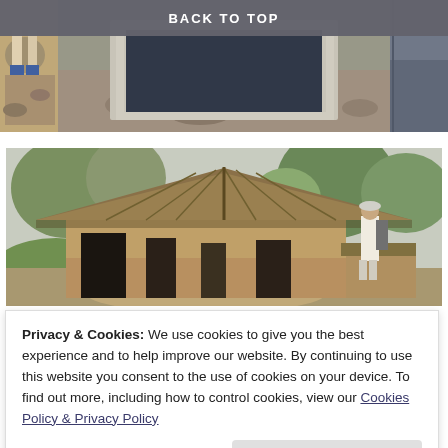BACK TO TOP
[Figure (photo): Top photo collage showing construction/sanitation work with concrete slab or tank being installed in rocky ground, viewed from above]
[Figure (photo): Photo of a traditional thatched-roof rural house/hut with mud walls, surrounded by trees and greenery, with a man standing to the right]
Privacy & Cookies: We use cookies to give you the best experience and to help improve our website. By continuing to use this website you consent to the use of cookies on your device. To find out more, including how to control cookies, view our Cookies Policy & Privacy Policy
Close and accept